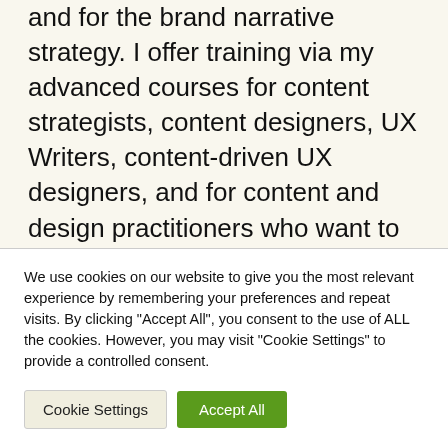and for the brand narrative strategy. I offer training via my advanced courses for content strategists, content designers, UX Writers, content-driven UX designers, and for content and design practitioners who want to explore product and system thinking.
We use cookies on our website to give you the most relevant experience by remembering your preferences and repeat visits. By clicking "Accept All", you consent to the use of ALL the cookies. However, you may visit "Cookie Settings" to provide a controlled consent.